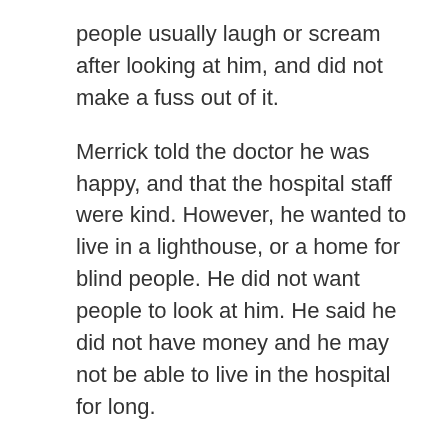people usually laugh or scream after looking at him, and did not make a fuss out of it.
Merrick told the doctor he was happy, and that the hospital staff were kind. However, he wanted to live in a lighthouse, or a home for blind people. He did not want people to look at him. He said he did not have money and he may not be able to live in the hospital for long.
Dr Treves then explained to him about the letter to The Times. Merrick was speechless.
Chapter 5 Synopsis (5.0) – An Important Visitor
Read...